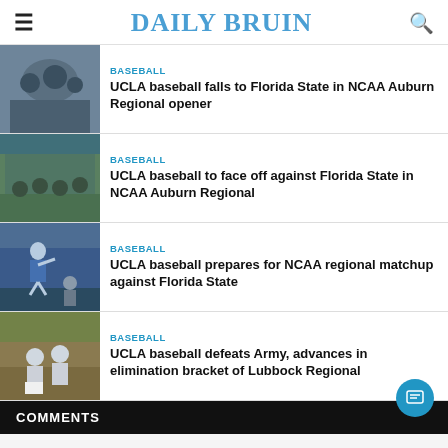DAILY BRUIN
BASEBALL
UCLA baseball falls to Florida State in NCAA Auburn Regional opener
BASEBALL
UCLA baseball to face off against Florida State in NCAA Auburn Regional
BASEBALL
UCLA baseball prepares for NCAA regional matchup against Florida State
BASEBALL
UCLA baseball defeats Army, advances in elimination bracket of Lubbock Regional
COMMENTS